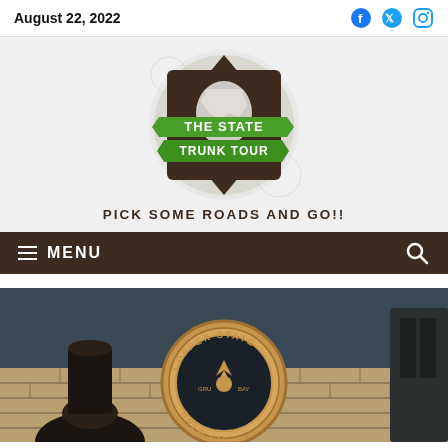August 22, 2022
[Figure (logo): The State Trunk Tour logo — circular badge with dark brown background, white outline of Wisconsin state, green ribbon banner reading THE STATE TRUNK TOUR]
PICK SOME ROADS AND GO!!
MENU
[Figure (photo): Interior of Copper State Brewing Co. — circular copper sign on brick wall with brewery equipment visible]